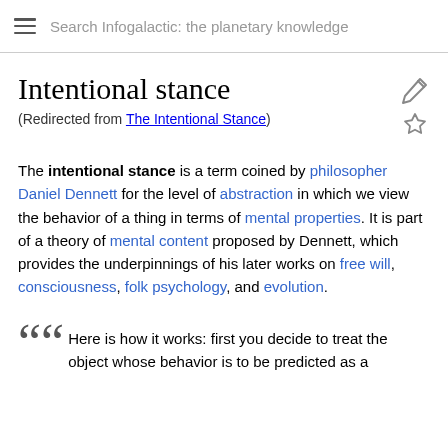Search Infogalactic: the planetary knowledge
Intentional stance
(Redirected from The Intentional Stance)
The intentional stance is a term coined by philosopher Daniel Dennett for the level of abstraction in which we view the behavior of a thing in terms of mental properties. It is part of a theory of mental content proposed by Dennett, which provides the underpinnings of his later works on free will, consciousness, folk psychology, and evolution.
““ Here is how it works: first you decide to treat the object whose behavior is to be predicted as a